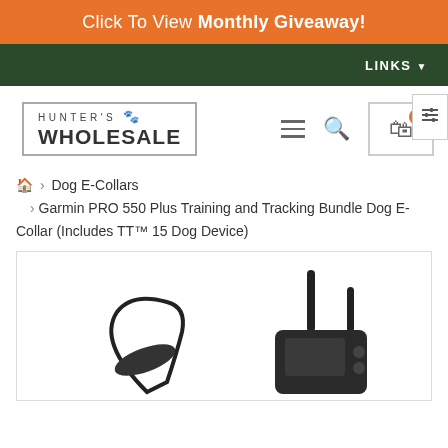Click To View Monthly Giveaway!
LINKS
[Figure (logo): Hunter's Wholesale logo with paw print icon inside a rectangular border]
Home > Dog E-Collars > Garmin PRO 550 Plus Training and Tracking Bundle Dog E-Collar (Includes TT™ 15 Dog Device)
[Figure (photo): Product photo of a Garmin PRO 550 Plus Training and Tracking Bundle dog e-collar device, showing black handheld remote and antenna components against a white background]